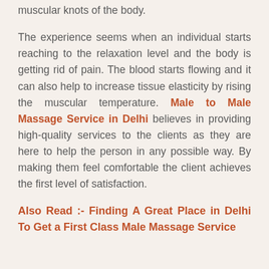muscular knots of the body.
The experience seems when an individual starts reaching to the relaxation level and the body is getting rid of pain. The blood starts flowing and it can also help to increase tissue elasticity by rising the muscular temperature. Male to Male Massage Service in Delhi believes in providing high-quality services to the clients as they are here to help the person in any possible way. By making them feel comfortable the client achieves the first level of satisfaction.
Also Read :- Finding A Great Place in Delhi To Get a First Class Male Massage Service